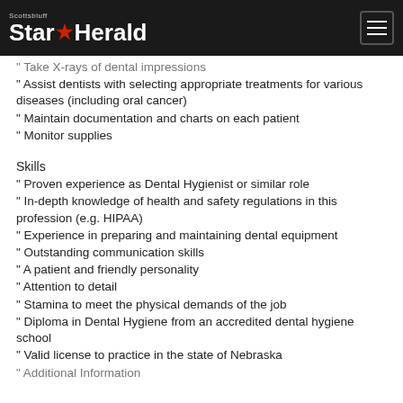Scottsbluff Star Herald
Take X-rays of dental impressions
Assist dentists with selecting appropriate treatments for various diseases (including oral cancer)
Maintain documentation and charts on each patient
Monitor supplies
Skills
Proven experience as Dental Hygienist or similar role
In-depth knowledge of health and safety regulations in this profession (e.g. HIPAA)
Experience in preparing and maintaining dental equipment
Outstanding communication skills
A patient and friendly personality
Attention to detail
Stamina to meet the physical demands of the job
Diploma in Dental Hygiene from an accredited dental hygiene school
Valid license to practice in the state of Nebraska
Additional Information